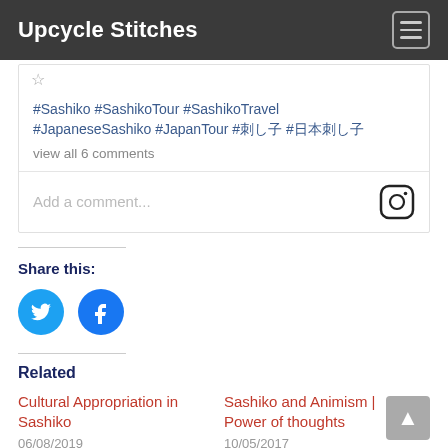Upcycle Stitches
#Sashiko #SashikoTour #SashikoTravel #JapaneseSashiko #JapanTour #刺し子 #日本刺し子
view all 6 comments
Add a comment...
Share this:
[Figure (other): Twitter and Facebook share buttons]
Related
Cultural Appropriation in Sashiko
06/08/2019
In "All Posts"
Sashiko and Animism | Power of thoughts
10/05/2017
In "Upcycle"
Monthly Sashiko...